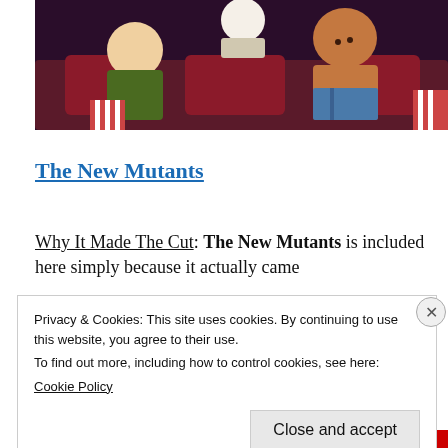[Figure (illustration): Animated scene showing cartoon characters sitting in movie theater seats with dark purple/maroon background. Characters include a dog and a person.]
The New Mutants
Why It Made The Cut: The New Mutants is included here simply because it actually came
Privacy & Cookies: This site uses cookies. By continuing to use this website, you agree to their use.
To find out more, including how to control cookies, see here:
Cookie Policy

Close and accept